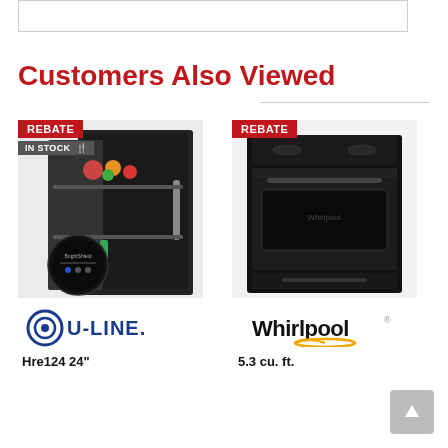Customers Also Viewed
[Figure (photo): U-Line beverage refrigerator with glass door open showing food and drinks inside, with BrightShield control panel in foreground. REBATE and IN STOCK badges shown.]
[Figure (logo): U-LINE brand logo with circle U icon]
Hre124 24"
[Figure (photo): Whirlpool black freestanding electric range/oven. REBATE badge shown.]
[Figure (logo): Whirlpool brand logo]
5.3 cu. ft.